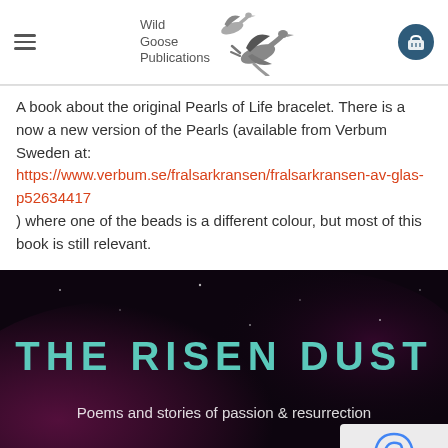Wild Goose Publications
A book about the original Pearls of Life bracelet. There is a now a new version of the Pearls (available from Verbum Sweden at: https://www.verbum.se/fralsarkransen/fralsarkransen-av-glas-p52634417 ) where one of the beads is a different colour, but most of this book is still relevant.
[Figure (photo): Dark purple/black nebula background with large teal text 'THE RISEN DUST' and subtitle 'Poems and stories of passion & resurrection']